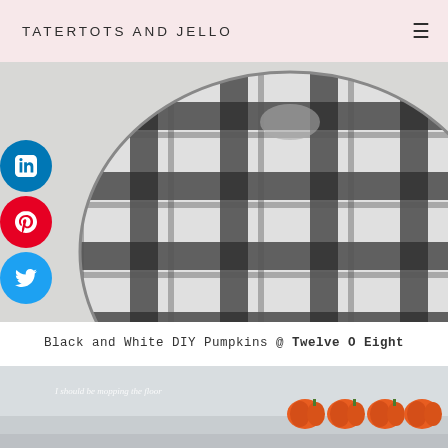TATERTOTS AND JELLO
[Figure (photo): Close-up photo of a black and white buffalo plaid pumpkin decoration on a light gray/white background]
[Figure (illustration): LinkedIn, Pinterest, and Twitter social share buttons as colored circular icons on the left side]
Black and White DIY Pumpkins @ Twelve O Eight
[Figure (photo): Photo of small orange pumpkins arranged in a row on a white surface, with cursive text overlay reading 'I should be mopping the floor']